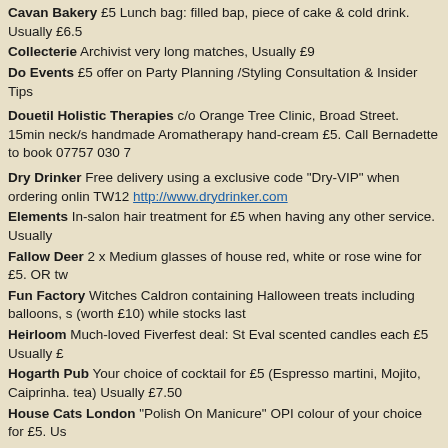Cavan Bakery £5 Lunch bag: filled bap, piece of cake & cold drink. Usually £6.5
Collecterie Archivist very long matches, Usually £9
Do Events £5 offer on Party Planning /Styling Consultation & Insider Tips
Douetil Holistic Therapies c/o Orange Tree Clinic, Broad Street. 15min neck/s handmade Aromatherapy hand-cream £5. Call Bernadette to book 07757 030 7
Dry Drinker Free delivery using a exclusive code "Dry-VIP" when ordering onlin TW12 http://www.drydrinker.com
Elements In-salon hair treatment for £5 when having any other service. Usually
Fallow Deer 2 x Medium glasses of house red, white or rose wine for £5. OR tw
Fun Factory Witches Caldron containing Halloween treats including balloons, s (worth £10) while stocks last
Heirloom Much-loved Fiverfest deal: St Eval scented candles each £5 Usually £
Hogarth Pub Your choice of cocktail for £5 (Espresso martini, Mojito, Caiprinha. tea) Usually £7.50
House Cats London "Polish On Manicure" OPI colour of your choice for £5. Us
La Casa Del Habano Neahaus chocolates OR selected chocolate bars
London Health Foods Nature's Own Vegan D3 2500iu usually £6.75 OR Cherr
Mela Mela Selection of vintage accessories for £5
Mini Me Mini U hair product and bath product for £5. Usually £8.99
Park Hotel Lunch deal: Your choice of baguette, chips & soft drink for £5
Richard Hair Boys & Gents cuts for £5. For NEW customers only and only with
Shambles 2 x Glasses of Prosecco for £5, Usually £13
Simply Skin Selection £5 products, a £5 skin analysis with their skin scanner O canvas bag
Steven's Tyres Wheel balancing at only £5 per wheel
Teddington Cheese Delicious scooping Gorgonzola for £5 usually £8